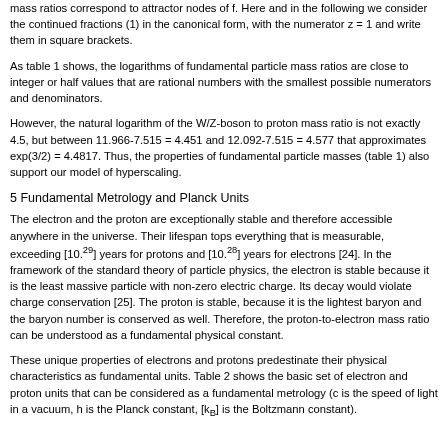mass ratios correspond to attractor nodes of f. Here and in the following we consider the continued fractions (1) in the canonical form, with the numerator z = 1 and write them in square brackets.
As table 1 shows, the logarithms of fundamental particle mass ratios are close to integer or half values that are rational numbers with the smallest possible numerators and denominators.
However, the natural logarithm of the W/Z-boson to proton mass ratio is not exactly 4.5, but between 11.966-7.515 = 4.451 and 12.092-7.515 = 4.577 that approximates exp(3/2) = 4.4817. Thus, the properties of fundamental particle masses (table 1) also support our model of hyperscaling.
5 Fundamental Metrology and Planck Units
The electron and the proton are exceptionally stable and therefore accessible anywhere in the universe. Their lifespan tops everything that is measurable, exceeding [10.sup.29] years for protons and [10.sup.28] years for electrons [24]. In the framework of the standard theory of particle physics, the electron is stable because it is the least massive particle with non-zero electric charge. Its decay would violate charge conservation [25]. The proton is stable, because it is the lightest baryon and the baryon number is conserved as well. Therefore, the proton-to-electron mass ratio can be understood as a fundamental physical constant.
These unique properties of electrons and protons predestinate their physical characteristics as fundamental units. Table 2 shows the basic set of electron and proton units that can be considered as a fundamental metrology (c is the speed of light in a vacuum, h is the Planck constant, [k.sub.B] is the Boltzmann constant).